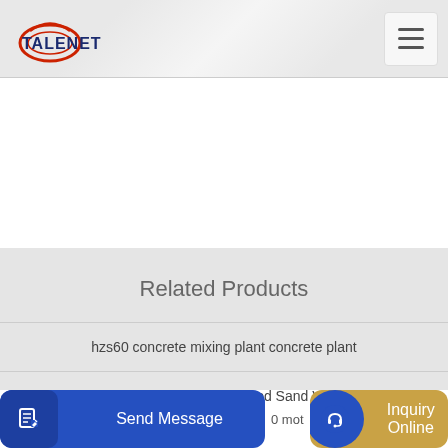TALENET
Related Products
hzs60 concrete mixing plant concrete plant
Concrete Pumping Manufactrued Sand Vrs Natural
0 mot
Send Message
Inquiry Online